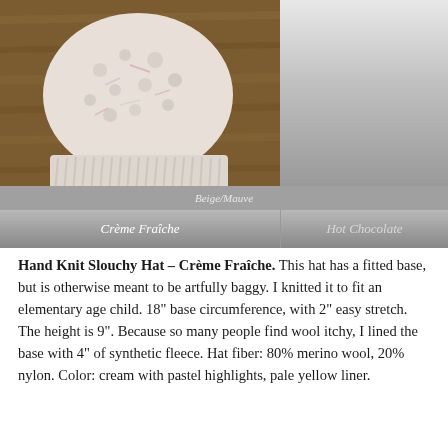[Figure (photo): Product photo carousel showing a hand-knitted slouchy hat in Crème Fraîche colorway (cream with pastel highlights) displayed on a wooden surface. The right panel shows Hot Chocolate colorway (grayed out). Below is a strip labeled Beige/Mauve. Labels are shown in a gray gradient bar.]
Hand Knit Slouchy Hat – Crème Fraîche. This hat has a fitted base, but is otherwise meant to be artfully baggy. I knitted it to fit an elementary age child. 18" base circumference, with 2" easy stretch. The height is 9". Because so many people find wool itchy, I lined the base with 4" of synthetic fleece. Hat fiber: 80% merino wool, 20% nylon. Color: cream with pastel highlights, pale yellow liner.